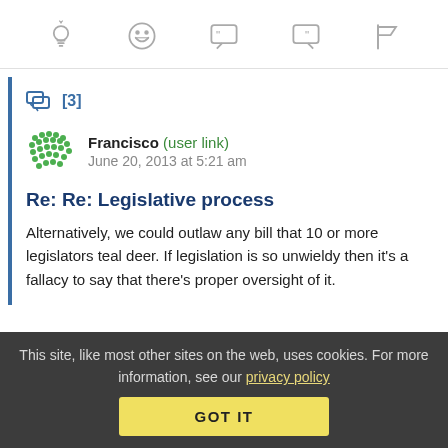[Figure (other): Toolbar with five icons: lightbulb, grinning face, open-quote speech bubble, close-quote speech bubble, flag]
[3]
Francisco (user link)   June 20, 2013 at 5:21 am
Re: Re: Legislative process
Alternatively, we could outlaw any bill that 10 or more legislators teal deer. If legislation is so unwieldy then it's a fallacy to say that there's proper oversight of it.
This site, like most other sites on the web, uses cookies. For more information, see our privacy policy GOT IT